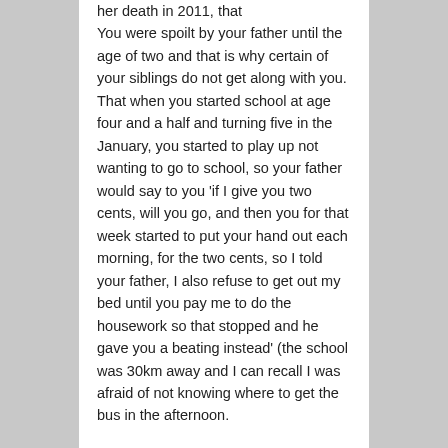her death in 2011, that You were spoilt by your father until the age of two and that is why certain of your siblings do not get along with you. That when you started school at age four and a half and turning five in the January, you started to play up not wanting to go to school, so your father would say to you 'if I give you two cents, will you go, and then you for that week started to put your hand out each morning, for the two cents, so I told your father, I also refuse to get out my bed until you pay me to do the housework so that stopped and he gave you a beating instead' (the school was 30km away and I can recall I was afraid of not knowing where to get the bus in the afternoon.